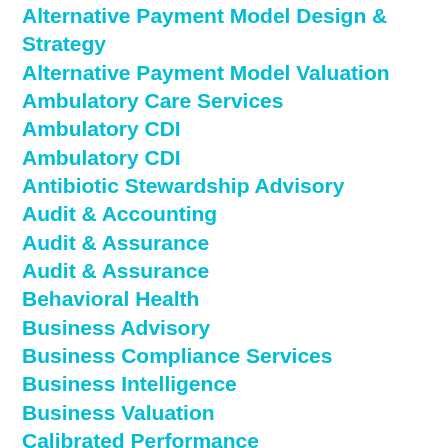Alternative Payment Model Design & Strategy
Alternative Payment Model Valuation
Ambulatory Care Services
Ambulatory CDI
Ambulatory CDI
Antibiotic Stewardship Advisory
Audit & Accounting
Audit & Assurance
Audit & Assurance
Behavioral Health
Business Advisory
Business Compliance Services
Business Intelligence
Business Valuation
Calibrated Performance
Client Accounting Advisory Services
Clinical Documentation & Revenue Cycle Improvement
Clinical Integration